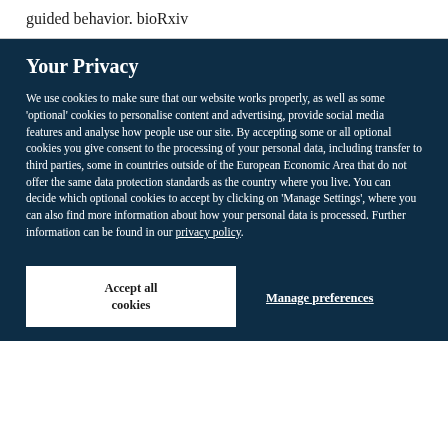guided behavior. bioRxiv
Your Privacy
We use cookies to make sure that our website works properly, as well as some 'optional' cookies to personalise content and advertising, provide social media features and analyse how people use our site. By accepting some or all optional cookies you give consent to the processing of your personal data, including transfer to third parties, some in countries outside of the European Economic Area that do not offer the same data protection standards as the country where you live. You can decide which optional cookies to accept by clicking on 'Manage Settings', where you can also find more information about how your personal data is processed. Further information can be found in our privacy policy.
Accept all cookies
Manage preferences